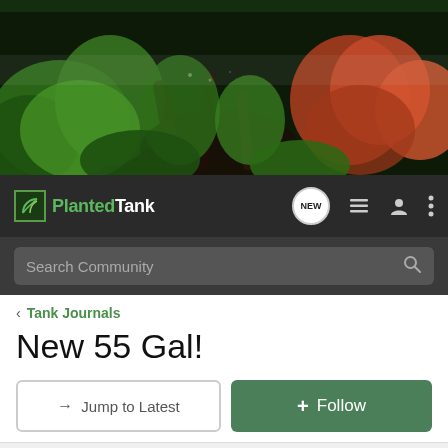[Figure (photo): Planted aquarium tank banner image with lush green aquatic plants, driftwood, and reddish plants on right side]
PlantedTank - navigation bar with logo, NEW bubble, list icon, user icon, and menu icon
Search Community
< Tank Journals
New 55 Gal!
→ Jump to Latest
+ Follow
1 - 3 of 3 Posts
PhantomCavie · Registered
Joined Apr 1, 2014 · 7 Posts